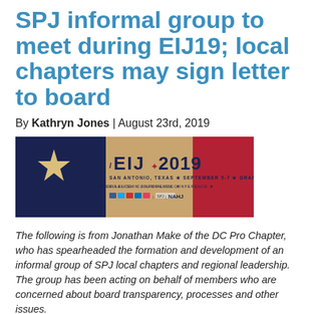SPJ informal group to meet during EIJ19; local chapters may sign letter to board
By Kathryn Jones | August 23rd, 2019
[Figure (photo): EIJ 2019 conference banner: San Antonio, Texas, September 5-7, Grand Hyatt, Excellence in Journalism Conference, NAHJ logo]
The following is from Jonathan Make of the DC Pro Chapter, who has spearheaded the formation and development of an informal group of SPJ local chapters and regional leadership. The group has been acting on behalf of members who are concerned about board transparency, processes and other issues.